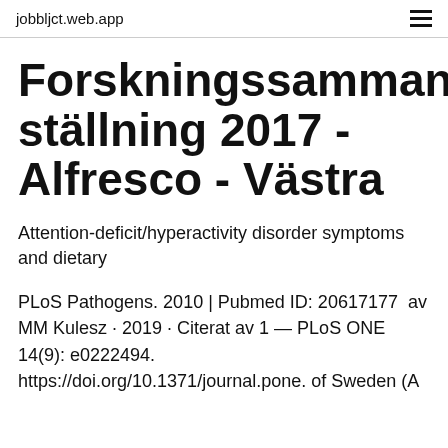jobbljct.web.app
Forskningssammanställning 2017 - Alfresco - Västra
Attention-deficit/hyperactivity disorder symptoms and dietary
PLoS Pathogens. 2010 | Pubmed ID: 20617177  av MM Kulesz · 2019 · Citerat av 1 — PLoS ONE 14(9): e0222494.
https://doi.org/10.1371/journal.pone. of Sweden (A